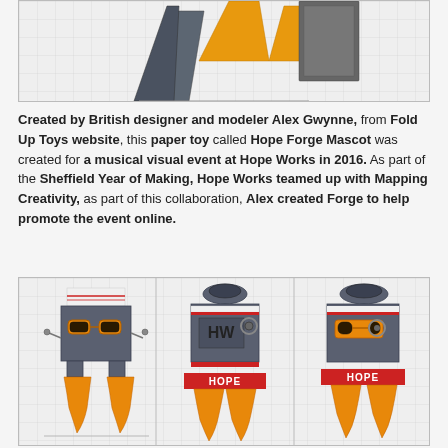[Figure (photo): Top portion of a paper toy (Hope Forge Mascot) on a grid background, showing the upper triangular/angular parts with orange and grey coloring]
Created by British designer and modeler Alex Gwynne, from Fold Up Toys website, this paper toy called Hope Forge Mascot was created for a musical visual event at Hope Works in 2016. As part of the Sheffield Year of Making, Hope Works teamed up with Mapping Creativity, as part of this collaboration, Alex created Forge to help promote the event online.
[Figure (photo): Three views of the Hope Forge Mascot paper toy robot figure on a grid background. Left: front view showing orange glasses and flame feet. Center: front-left view with HW logo and HOPE text. Right: side view showing OTO text and HOPE branding.]